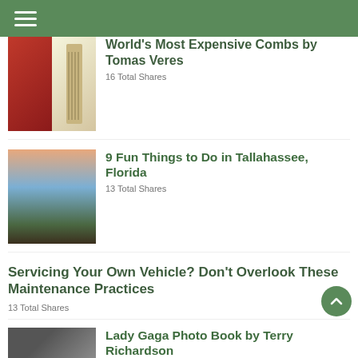World's Most Expensive Combs by Tomas Veres
16 Total Shares
9 Fun Things to Do in Tallahassee, Florida
13 Total Shares
Servicing Your Own Vehicle? Don't Overlook These Maintenance Practices
13 Total Shares
Lady Gaga Photo Book by Terry Richardson
11 Total Shares